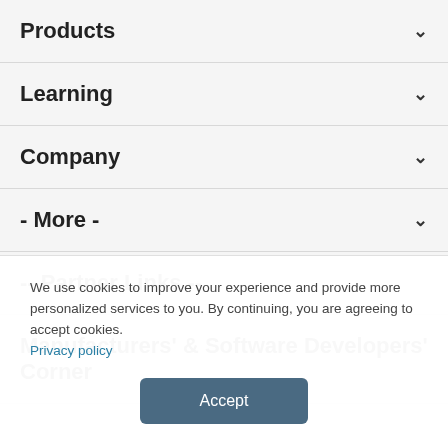Products
Learning
Company
- More -
-- Partner Links --
Manufacturers' & Software Developers' Corner
We use cookies to improve your experience and provide more personalized services to you. By continuing, you are agreeing to accept cookies. Privacy policy
Accept